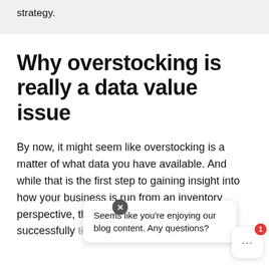strategy.
Why overstocking is really a data value issue
By now, it might seem like overstocking is a matter of what data you have available. And while that is the first step to gaining insight into how your business is run from an inventory perspective, the data value structure's successfully time after time.